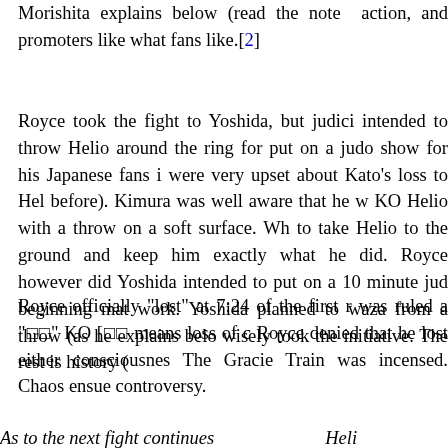Morishita explains below (read the note action, and promoters like what fans like.[2]
Royce took the fight to Yoshida, but judici intended to throw Helio around the ring for put on a judo show for his Japanese fans i were very upset about Kato's loss to Hel before). Kimura was well aware that he w KO Helio with a throw on a soft surface. Wh to take Helio to the ground and keep him exactly what he did. Royce however did Yoshida intended to put on a 10 minute jud beginning mat work. Yoshida planned to waza from a throw (as he explains belo wisely took the initiative. The rest is history (
Royce officially "lost" at 7:24 of the first r was ruled a "□□" KO [□□ means loss of c Royce denied that he lost either consciousnes The Gracie Train was incensed. Chaos ensue controversy.
As to the next fight continues Heli